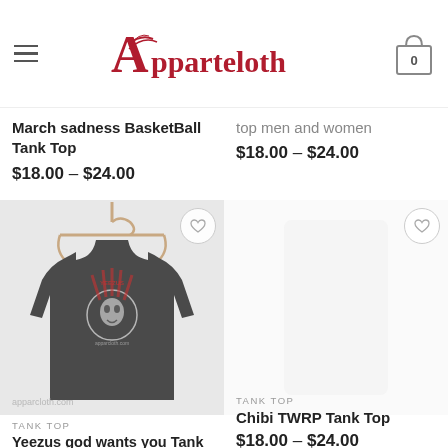Apparcloth
March sadness BasketBall Tank Top $18.00 – $24.00
top men and women $18.00 – $24.00
[Figure (photo): Dark grey tank top on a hanger with a skull graphic design and apparcloth.com watermark]
TANK TOP
Yeezus god wants you Tank Top
[Figure (photo): Blank product area for Chibi TWRP Tank Top]
TANK TOP
Chibi TWRP Tank Top
$18.00 – $24.00